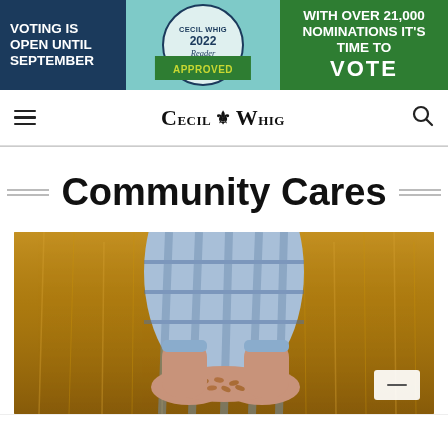[Figure (screenshot): Banner advertisement for Cecil Whig 2022 Reader Approved voting. Left dark blue section reads 'VOTING IS OPEN UNTIL SEPTEMBER'. Center teal section shows Cecil Whig 2022 Reader Approved circular badge with a green ribbon saying 'APPROVED'. Right green section reads 'WITH OVER 21,000 NOMINATIONS IT'S TIME TO VOTE'.]
Cecil Whig navigation bar with hamburger menu, Cecil Whig logo, and search icon
Community Cares
[Figure (photo): A person in a blue plaid shirt standing in a golden wheat field, holding grain seeds in cupped hands. The background is a blurred golden field.]